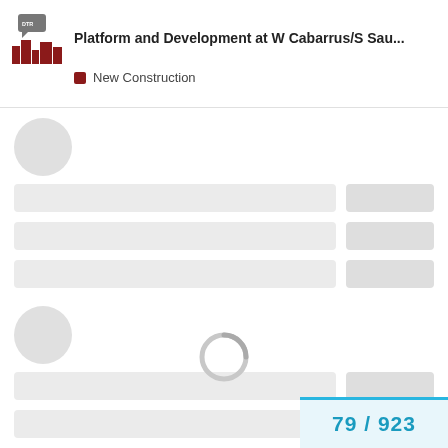Platform and Development at W Cabarrus/S Sau... — New Construction
[Figure (screenshot): Loading skeleton UI with avatar placeholders, skeleton bars, a spinner, and a pagination indicator showing 79 / 923]
79 / 923